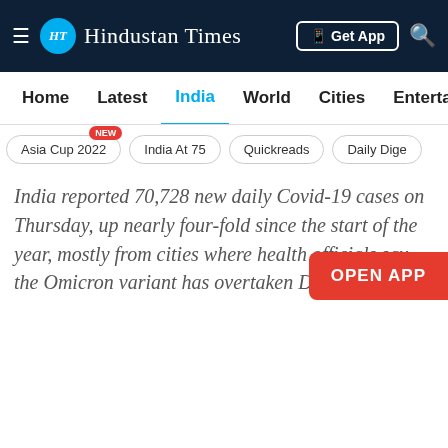Hindustan Times
Home  Latest  India  World  Cities  Entertainment
Asia Cup 2022 NEW
India At 75
Quickreads
Daily Dige...
India reported 70,728 new daily Covid-19 cases on Thursday, up nearly four-fold since the start of the year, mostly from cities where health officials say the Omicron variant has overtaken Delta.